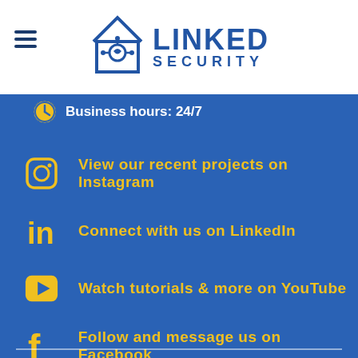[Figure (logo): Linked Security logo with house/circuit icon and text LINKED SECURITY]
Business hours: 24/7
View our recent projects on Instagram
Connect with us on LinkedIn
Watch tutorials & more on YouTube
Follow and message us on Facebook